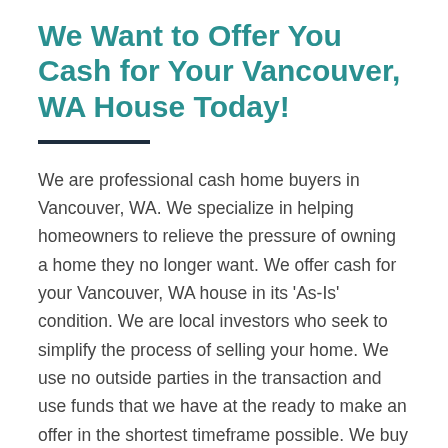We Want to Offer You Cash for Your Vancouver, WA House Today!
We are professional cash home buyers in Vancouver, WA. We specialize in helping homeowners to relieve the pressure of owning a home they no longer want. We offer cash for your Vancouver, WA house in its 'As-Is' condition. We are local investors who seek to simplify the process of selling your home. We use no outside parties in the transaction and use funds that we have at the ready to make an offer in the shortest timeframe possible. We buy houses in Vancouver, WA and we are ready to buy your Vancouver, WA house for cash today! Real estate agents take far too long to list and sell your Vancouver, WA house, charging you tens of thousands of dollars in the process. We are only interested in buying